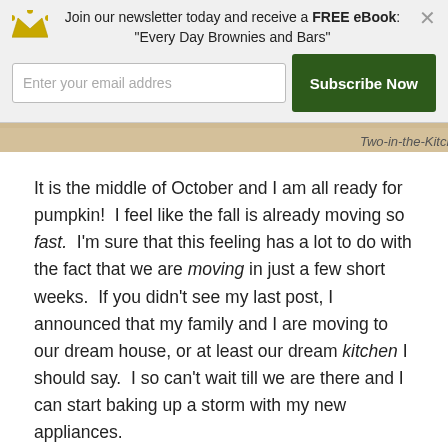Join our newsletter today and receive a FREE eBook: "Every Day Brownies and Bars"
[Figure (screenshot): Email subscription form with input field and green Subscribe Now button]
[Figure (photo): Partial image strip showing food/baking background with text Two-in-the-Kitchen]
It is the middle of October and I am all ready for pumpkin!  I feel like the fall is already moving so fast.  I'm sure that this feeling has a lot to do with the fact that we are moving in just a few short weeks.  If you didn't see my last post, I announced that my family and I are moving to our dream house, or at least our dream kitchen I should say.  I so can't wait till we are there and I can start baking up a storm with my new appliances.  *sigh…
While I am waiting, there is always pumpkin to keep me occupied.  How many pumpkin recipes have you made so far